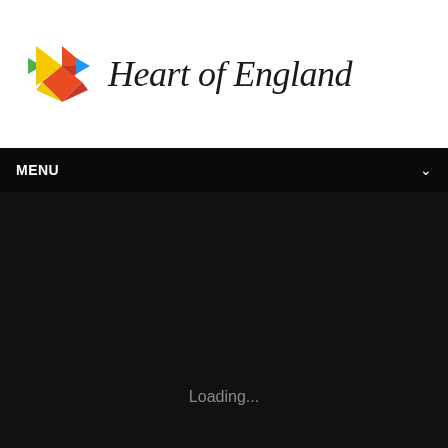[Figure (logo): Heart of England logo with colorful geometric arrow/star icon on left and handwritten-style 'Heart of England' text on right]
MENU
Loading...